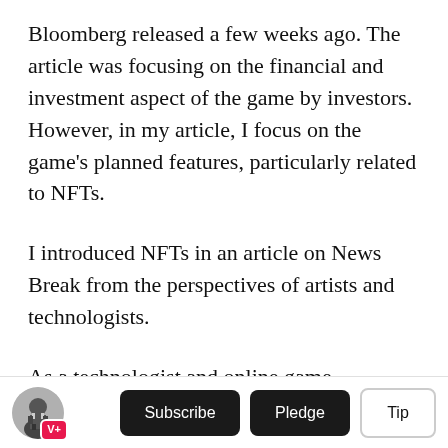Bloomberg released a few weeks ago. The article was focusing on the financial and investment aspect of the game by investors. However, in my article, I focus on the game's planned features, particularly related to NFTs.
I introduced NFTs in an article on News Break from the perspectives of artists and technologists.
As a technologist and online game enthusiast, I was thrilled by the announcement made by Big Time Studios recently. It is a company developing the world's first action Windows PC game based on
V+ Subscribe Pledge Tip